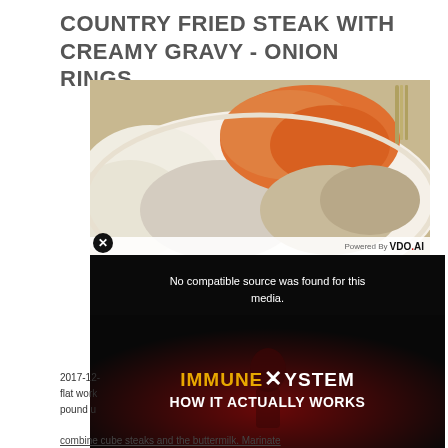COUNTRY FRIED STEAK WITH CREAMY GRAVY - ONION RINGS ...
[Figure (photo): A plate of country fried steak with creamy gravy, carrots, and mashed potatoes on a white plate, with a fork visible. A video overlay shows 'No compatible source was found for this media' and an 'IMMUNE SYSTEM HOW IT ACTUALLY WORKS' video thumbnail. A close button and 'Powered By VDO.AI' label are visible.]
2017-12-
flat work
pound u
combine cube steaks and the buttermilk. Marinate